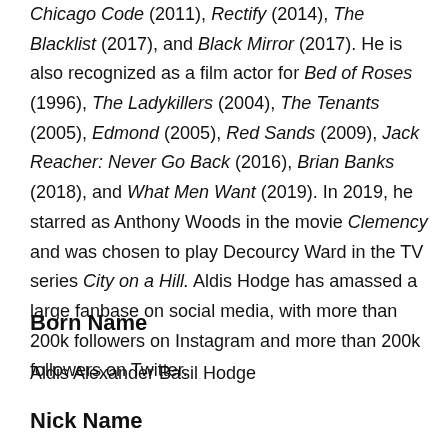Chicago Code (2011), Rectify (2014), The Blacklist (2017), and Black Mirror (2017). He is also recognized as a film actor for Bed of Roses (1996), The Ladykillers (2004), The Tenants (2005), Edmond (2005), Red Sands (2009), Jack Reacher: Never Go Back (2016), Brian Banks (2018), and What Men Want (2019). In 2019, he starred as Anthony Woods in the movie Clemency and was chosen to play Decourcy Ward in the TV series City on a Hill. Aldis Hodge has amassed a large fanbase on social media, with more than 200k followers on Instagram and more than 200k followers on Twitter.
Born Name
Aldis Alexander Basil Hodge
Nick Name